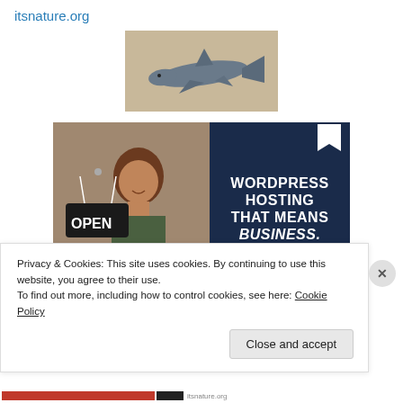itsnature.org
[Figure (photo): A small shark or similar marine creature swimming, photographed against a light beige/tan background.]
[Figure (photo): Advertisement image: left half shows a smiling woman holding an OPEN sign in a shop; right half is dark navy blue with white bold text reading WORDPRESS HOSTING THAT MEANS BUSINESS. with a flag/bookmark icon in the top right corner.]
Privacy & Cookies: This site uses cookies. By continuing to use this website, you agree to their use.
To find out more, including how to control cookies, see here: Cookie Policy
Close and accept